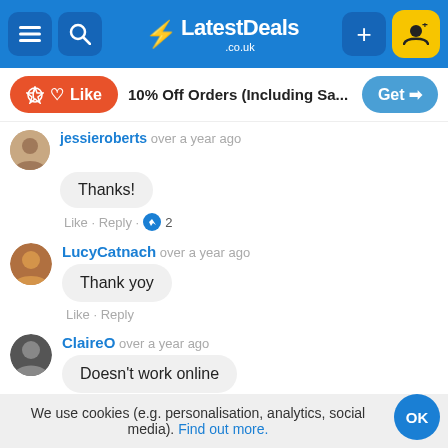[Figure (screenshot): LatestDeals.co.uk website navigation bar with menu, search, logo, plus and add-user buttons]
[Figure (screenshot): Sticky deal bar with Like button, deal title '10% Off Orders (Including Sa...', and Get button]
jessieroberts over a year ago
Thanks!
Like · Reply · 2
LucyCatnach over a year ago
Thank yoy
Like · Reply
ClaireO over a year ago
Doesn't work online
Like · Reply
We use cookies (e.g. personalisation, analytics, social media). Find out more.